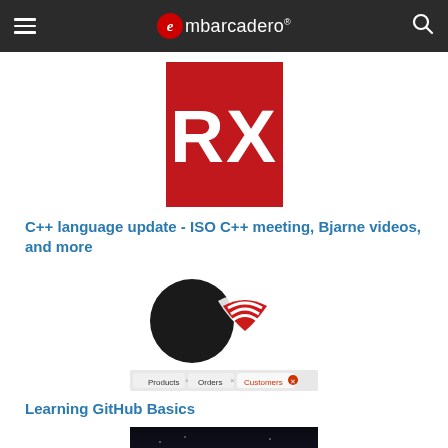embarcadero
[Figure (logo): Red square with white bold text 'RX' - Embarcadero RAD Studio RX logo]
C++ language update - ISO C++ meeting, Bjarne videos, and more
[Figure (illustration): GitHub Octocat logo overlapping with red Delphi/C++Builder helmet logo, with a tab bar showing Products, Orders, Customers tabs below]
Learning GitHub Basics
[Figure (photo): Dark nighttime photo of a rocket or tower illuminated at sunset/sunrise against a dark sky]